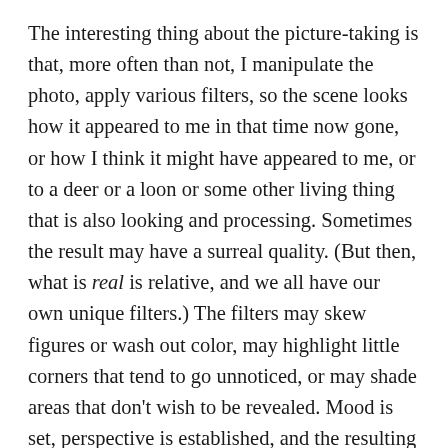The interesting thing about the picture-taking is that, more often than not, I manipulate the photo, apply various filters, so the scene looks how it appeared to me in that time now gone, or how I think it might have appeared to me, or to a deer or a loon or some other living thing that is also looking and processing. Sometimes the result may have a surreal quality. (But then, what is real is relative, and we all have our own unique filters.) The filters may skew figures or wash out color, may highlight little corners that tend to go unnoticed, or may shade areas that don't wish to be revealed. Mood is set, perspective is established, and the resulting tone and feel informs point of view. And I remember what I felt the moment I was present to snap it, remember what I thought, where I came from